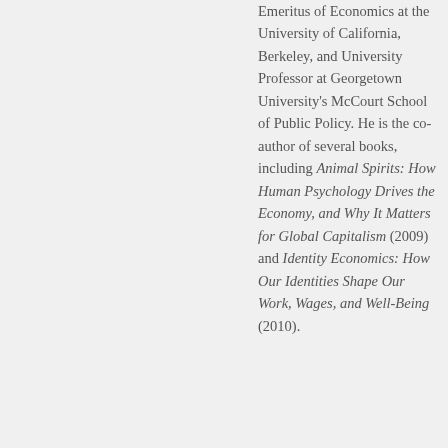Emeritus of Economics at the University of California, Berkeley, and University Professor at Georgetown University's McCourt School of Public Policy. He is the co-author of several books, including Animal Spirits: How Human Psychology Drives the Economy, and Why It Matters for Global Capitalism (2009) and Identity Economics: How Our Identities Shape Our Work, Wages, and Well-Being (2010).